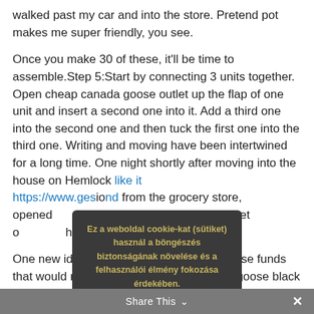walked past my car and into the store. Pretend pot makes me super friendly, you see.
Once you make 30 of these, it'll be time to assemble.Step 5:Start by connecting 3 units together. Open cheap canada goose outlet up the flap of one unit and insert a second one into it. Add a third one into the second one and then tuck the first one into the third one. Writing and moving have been intertwined for a long time. One night shortly after moving into the house on Hemlock like it https://www.ges[...] from the grocery store, opened [...] or but felt too exhausted to get o[...] the driveway.
One new idea is to build leverage and inverse funds that would rise or fall twice as fast canada goose black friday sale as the price [...] given day. Direxion Asset M[...] to list such products on the InterCon[...] Exchange canada
[Figure (other): Cookie consent modal dialog with dark grey background. Text in gold/yellow reads: 'Ez a weboldal cookie-kat (sütiket) használ a böngészés biztonságának növelése és a felhasználói élmény fokozása érdekében. További információ'. Below is a button labeled 'Rendben'.]
Share This ∨  ✕